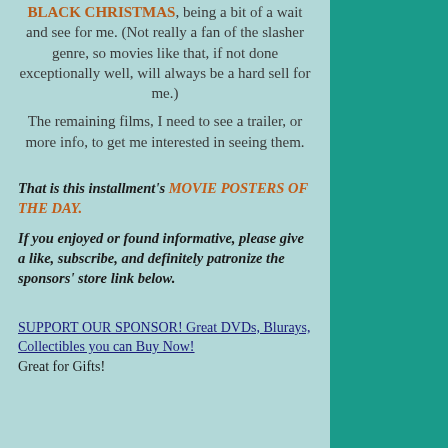BLACK CHRISTMAS, being a bit of a wait and see for me. (Not really a fan of the slasher genre, so movies like that, if not done exceptionally well, will always be a hard sell for me.)
The remaining films, I need to see a trailer, or more info, to get me interested in seeing them.
That is this installment's MOVIE POSTERS OF THE DAY.
If you enjoyed or found informative, please give a like, subscribe, and definitely patronize the sponsors' store link below.
SUPPORT OUR SPONSOR! Great DVDs, Blurays, Collectibles you can Buy Now! Great for Gifts!